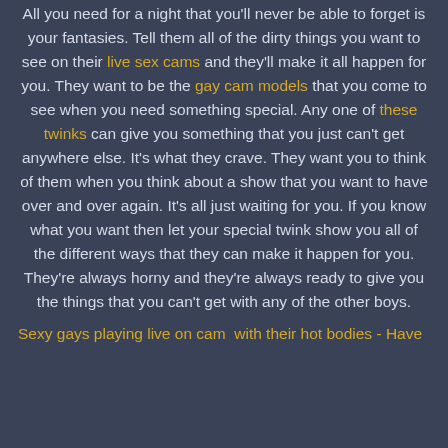All you need for a night that you'll never be able to forget is your fantasies. Tell them all of the dirty things you want to see on their live sex cams and they'll make it all happen for you. They want to be the gay cam models that you come to see when you need something special. Any one of these twinks can give you something that you just can't get anywhere else. It's what they crave. They want you to think of them when you think about a show that you want to have over and over again. It's all just waiting for you. If you know what you want then let your special twink show you all of the different ways that they can make it happen for you. They're always horny and they're always ready to give you the things that you can't get with any of the other boys.
Sexy gays playing live on cam  with their hot bodies - Have